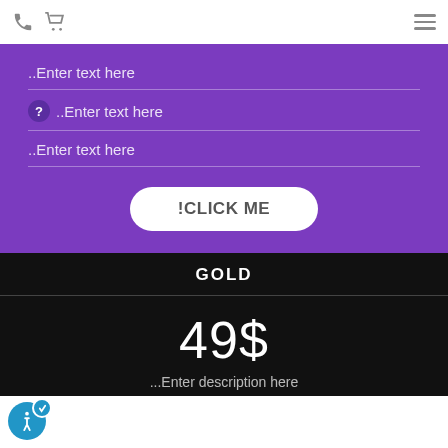Navigation bar with phone icon, cart icon, and hamburger menu
..Enter text here
? ..Enter text here
..Enter text here
!CLICK ME
GOLD
49$
...Enter description here